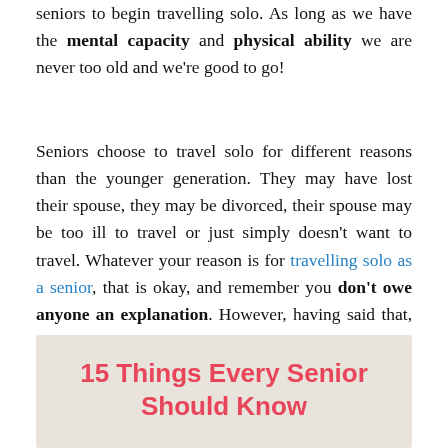seniors to begin travelling solo. As long as we have the mental capacity and physical ability we are never too old and we're good to go!
Seniors choose to travel solo for different reasons than the younger generation. They may have lost their spouse, they may be divorced, their spouse may be too ill to travel or just simply doesn't want to travel. Whatever your reason is for travelling solo as a senior, that is okay, and remember you don't owe anyone an explanation. However, having said that, there are certain things that we as seniors need to know before taking off on our own.
15 Things Every Senior Should Know Before Travelling Solo